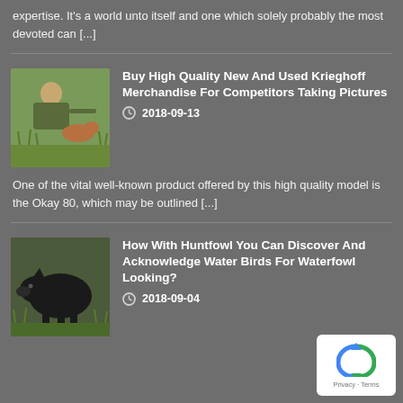expertise. It's a world unto itself and one which solely probably the most devoted can [...]
[Figure (photo): Hunter with dog in grassy field]
Buy High Quality New And Used Krieghoff Merchandise For Competitors Taking Pictures
2018-09-13
One of the vital well-known product offered by this high quality model is the Okay 80, which may be outlined [...]
[Figure (photo): Black boar in grassy area]
How With Huntfowl You Can Discover And Acknowledge Water Birds For Waterfowl Looking?
2018-09-04